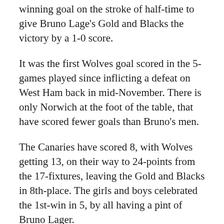winning goal on the stroke of half-time to give Bruno Lage's Gold and Blacks the victory by a 1-0 score.
It was the first Wolves goal scored in the 5-games played since inflicting a defeat on West Ham back in mid-November. There is only Norwich at the foot of the table, that have scored fewer goals than Bruno's men.
The Canaries have scored 8, with Wolves getting 13, on their way to 24-points from the 17-fixtures, leaving the Gold and Blacks in 8th-place. The girls and boys celebrated the 1st-win in 5, by all having a pint of Bruno Lager.
Chelsea, surprisingly, could only muster a draw...